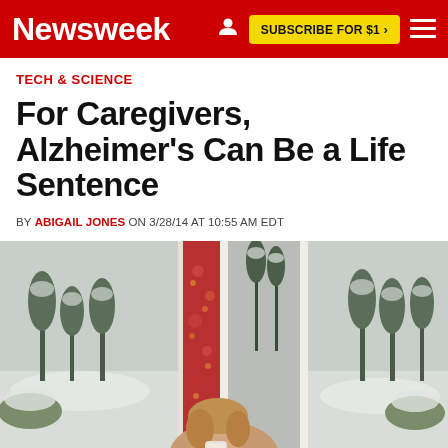Newsweek | SUBSCRIBE FOR $1 >
TECH & SCIENCE
For Caregivers, Alzheimer's Can Be a Life Sentence
BY ABIGAIL JONES ON 3/28/14 AT 10:55 AM EDT
[Figure (photo): A woman sitting indoors near a window with red floral curtains, appearing to drink from a cup, with a snowy winter outdoor scene visible through the window behind her.]